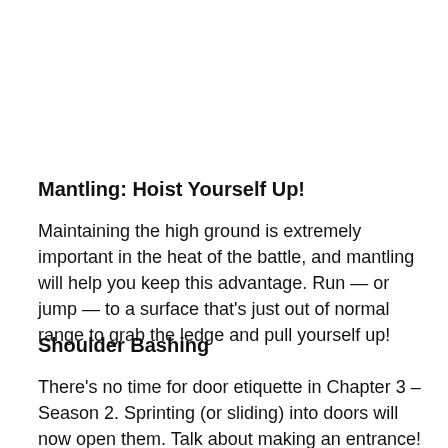Mantling: Hoist Yourself Up!
Maintaining the high ground is extremely important in the heat of the battle, and mantling will help you keep this advantage. Run — or jump — to a surface that's just out of normal range to grab the ledge and pull yourself up!
Shoulder Bashing
There's no time for door etiquette in Chapter 3 – Season 2. Sprinting (or sliding) into doors will now open them. Talk about making an entrance!